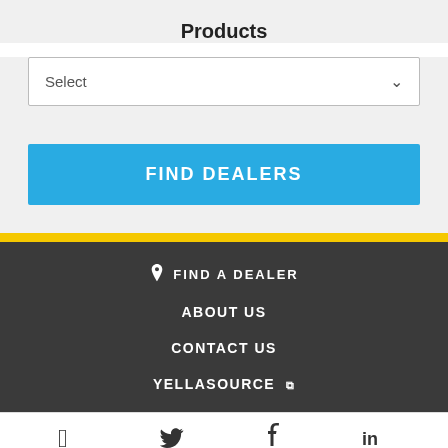Products
[Figure (screenshot): A dropdown select input with text 'Select' and a chevron arrow on the right]
[Figure (screenshot): A blue call-to-action button with text 'FIND DEALERS']
FIND A DEALER | ABOUT US | CONTACT US | YELLASOURCE [external link] | Social icons: Pinterest, Twitter, Facebook, LinkedIn